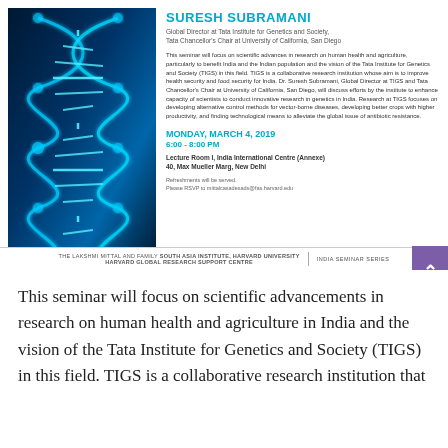[Figure (photo): Blue glowing DNA double helix on dark background]
SURESH SUBRAMANI
Global Director at Tata Institute for Genetics and Society, Tata Chancellor's Chair at University of California, San Diego
This seminar will focus on scientific advances in research on human health and agriculture, particularly to benefit India and the Indian population and the vision of the Tata Institute for Genetics and Society (TIGS) in this field. TIGS is a collaborative research institution whose aim is to improve health security and food security for India. Dr. Suresh Subramani, Global Director at TIGS and Tata Chancellor's Chair at University of California, San Diego, will discuss efforts by the institute to enhance capacity of scientists to conduct innovative research in genetics in India. Research at TIGS focuses on developing alternative control methods for vector-borne diseases, developing better crops with higher productivity, and finding technological means to alleviate the global issue of antibiotic resistance.
MONDAY, MARCH 4, 2019
6:00 - 8:00 PM
Lecture Room I, India International Centre (Annexe)
40, Max Mueller Marg, New Delhi
Refreshments will be served.
Please RSVP to mittalcasadesads@fas.harvard.edu
THE LAKSHMI MITTAL AND FAMILY SOUTH ASIA INSTITUTE, HARVARD UNIVERSITY HARVARD GLOBAL RESEARCH SUPPORT CENTRE | INDIA SEMINAR SERIES
This seminar will focus on scientific advancements in research on human health and agriculture in India and the vision of the Tata Institute for Genetics and Society (TIGS) in this field. TIGS is a collaborative research institution that